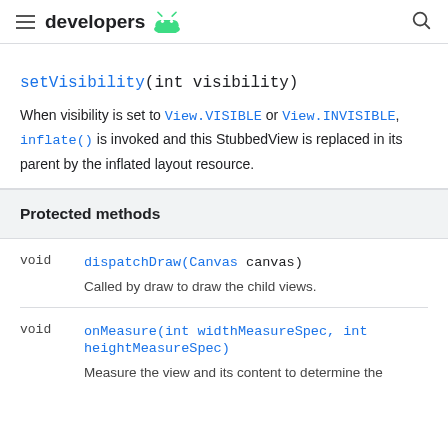developers
setVisibility(int visibility)
When visibility is set to View.VISIBLE or View.INVISIBLE, inflate() is invoked and this StubbedView is replaced in its parent by the inflated layout resource.
Protected methods
| Return type | Method |
| --- | --- |
| void | dispatchDraw(Canvas canvas)
Called by draw to draw the child views. |
| void | onMeasure(int widthMeasureSpec, int heightMeasureSpec)
Measure the view and its content to determine the |